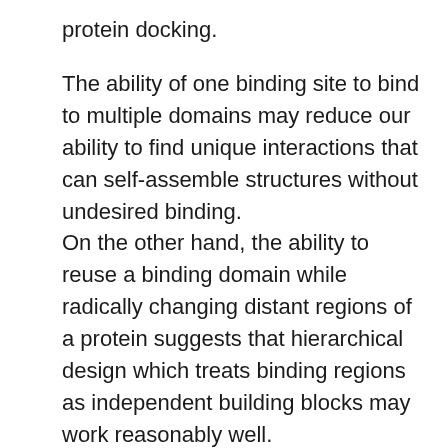protein docking.
The ability of one binding site to bind to multiple domains may reduce our ability to find unique interactions that can self-assemble structures without undesired binding.
On the other hand, the ability to reuse a binding domain while radically changing distant regions of a protein suggests that hierarchical design which treats binding regions as independent building blocks may work reasonably well.
The inability to bind to other surfaces of the Fc fragment may indicate that it is difficult to build connections on several surfaces of a protein. This is consistent with the hydrophobicity of the binding